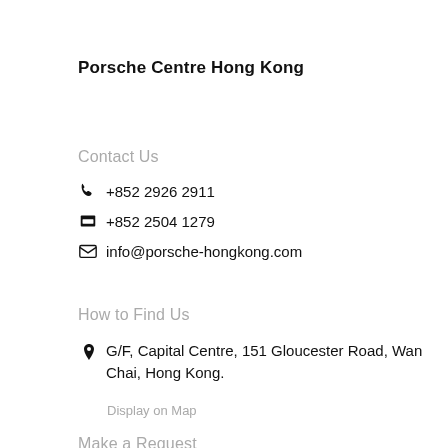Porsche Centre Hong Kong
Contact Us
+852 2926 2911
+852 2504 1279
info@porsche-hongkong.com
How to Find Us
G/F, Capital Centre, 151 Gloucester Road, Wan Chai, Hong Kong.
Display on Map
Make a Request
Test Drive